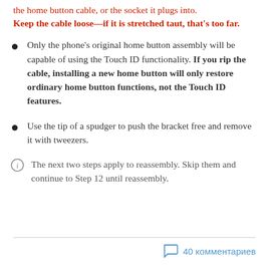the home button cable, or the socket it plugs into. Keep the cable loose—if it is stretched taut, that's too far.
Only the phone's original home button assembly will be capable of using the Touch ID functionality. If you rip the cable, installing a new home button will only restore ordinary home button functions, not the Touch ID features.
Use the tip of a spudger to push the bracket free and remove it with tweezers.
The next two steps apply to reassembly. Skip them and continue to Step 12 until reassembly.
40 комментариев